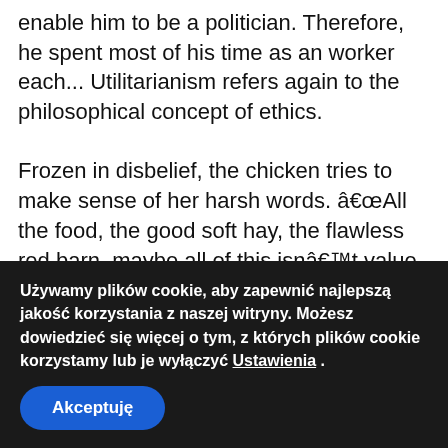enable him to be a politician. Therefore, he spent most of his time as an worker each... Utilitarianism refers again to the philosophical concept of ethics.

Frozen in disbelief, the chicken tries to make sense of her harsh words. “All the food, the good soft hay, the flawless red barn–maybe all of this isn’t value giving up. She simply needs to guard me from shedding it all.” The rooster replays the incident once more. A fissure within the chicken’s unawareness, a plan begins to hatch. The chicken is conscious of it should escape; it has to get to the
Używamy plików cookie, aby zapewnić najlepszą jakość korzystania z naszej witryny. Możesz dowiedzieć się więcej o tym, z których plików cookie korzystamy lub je wyłączyć Ustawienia .